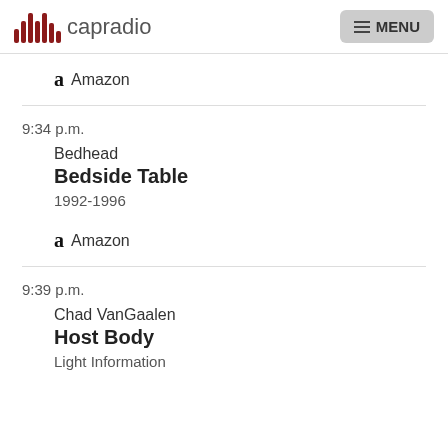capradio | MENU
Amazon
9:34 p.m.
Bedhead
Bedside Table
1992-1996
Amazon
9:39 p.m.
Chad VanGaalen
Host Body
Light Information